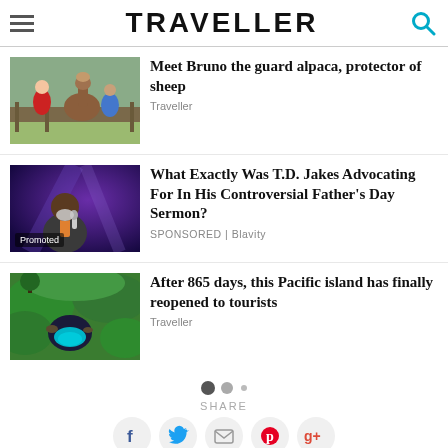TRAVELLER
[Figure (photo): A woman in red jacket and a man petting a brown alpaca near a wooden fence outdoors]
Meet Bruno the guard alpaca, protector of sheep
Traveller
[Figure (photo): A man in a suit speaking into a microphone on a stage with purple lighting, labeled 'Promoted']
What Exactly Was T.D. Jakes Advocating For In His Controversial Father's Day Sermon?
SPONSORED | Blavity
[Figure (photo): A lush green tropical landscape with a clear turquoise natural pool or sinkhole]
After 865 days, this Pacific island has finally reopened to tourists
Traveller
SHARE